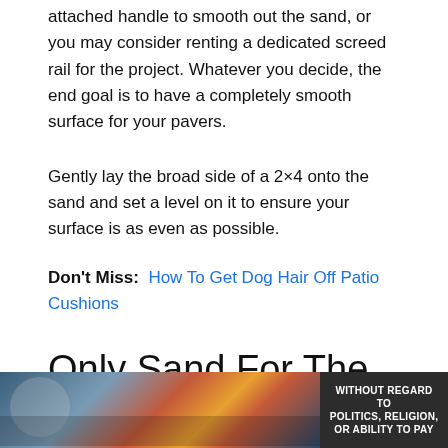attached handle to smooth out the sand, or you may consider renting a dedicated screed rail for the project. Whatever you decide, the end goal is to have a completely smooth surface for your pavers.
Gently lay the broad side of a 2×4 onto the sand and set a level on it to ensure your surface is as even as possible.
Don't Miss:  How To Get Dog Hair Off Patio Cushions
Only Sand For The Base Of Paver Patio
I'm freaking out. I was told by a salesperson that I didn't
[Figure (photo): Advertisement banner showing cargo planes being loaded, with a dark overlay label reading 'WITHOUT REGARD TO POLITICS, RELIGION, OR ABILITY TO PAY']